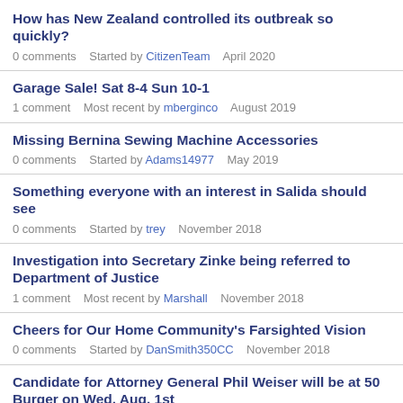How has New Zealand controlled its outbreak so quickly?
0 comments   Started by CitizenTeam   April 2020
Garage Sale! Sat 8-4 Sun 10-1
1 comment   Most recent by mberginco   August 2019
Missing Bernina Sewing Machine Accessories
0 comments   Started by Adams14977   May 2019
Something everyone with an interest in Salida should see
0 comments   Started by trey   November 2018
Investigation into Secretary Zinke being referred to Department of Justice
1 comment   Most recent by Marshall   November 2018
Cheers for Our Home Community's Farsighted Vision
0 comments   Started by DanSmith350CC   November 2018
Candidate for Attorney General Phil Weiser will be at 50 Burger on Wed. Aug. 1st
0 comments   Started by CitizenTeam   July 2018
Perspective : Wildfires aren't that bad … really.